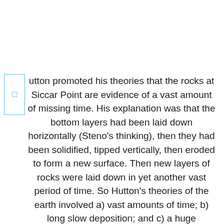utton promoted his theories that the rocks at Siccar Point are evidence of a vast amount of missing time. His explanation was that the bottom layers had been laid down horizontally (Steno's thinking), then they had been solidified, tipped vertically, then eroded to form a new surface. Then new layers of rocks were laid down in yet another vast period of time. So Hutton's theories of the earth involved a) vast amounts of time; b) long slow deposition; and c) a huge difference in age between the top and bottom layers.